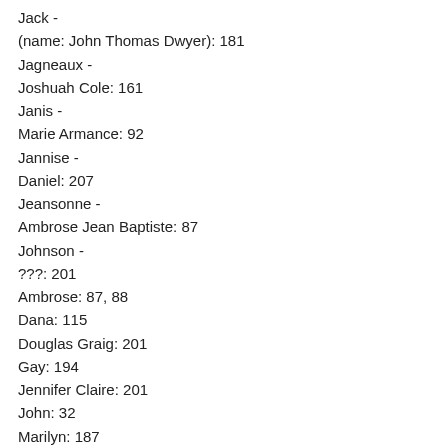Jack -
(name: John Thomas Dwyer): 181
Jagneaux -
Joshuah Cole: 161
Janis -
Marie Armance: 92
Jannise -
Daniel: 207
Jeansonne -
Ambrose Jean Baptiste: 87
Johnson -
???: 201
Ambrose: 87, 88
Dana: 115
Douglas Graig: 201
Gay: 194
Jennifer Claire: 201
John: 32
Marilyn: 187
Melda: 88, 110, 143, 190, 191
Michelle: 113